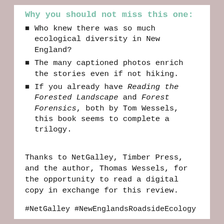Why you should not miss this one:
Who knew there was so much ecological diversity in New England?
The many captioned photos enrich the stories even if not hiking.
If you already have Reading the Forested Landscape and Forest Forensics, both by Tom Wessels, this book seems to complete a trilogy.
Thanks to NetGalley, Timber Press, and the author, Thomas Wessels, for the opportunity to read a digital copy in exchange for this review.
#NetGalley #NewEnglandsRoadsideEcology